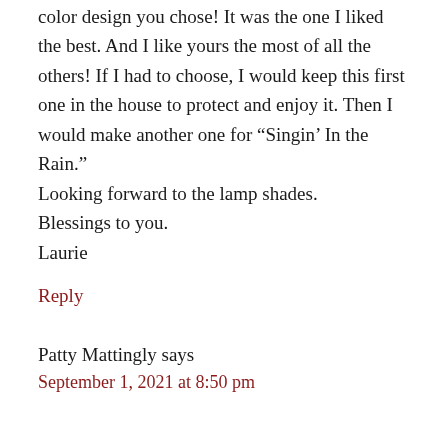color design you chose! It was the one I liked the best. And I like yours the most of all the others! If I had to choose, I would keep this first one in the house to protect and enjoy it. Then I would make another one for “Singin’ In the Rain.”
Looking forward to the lamp shades.
Blessings to you.
Laurie
Reply
Patty Mattingly says
September 1, 2021 at 8:50 pm